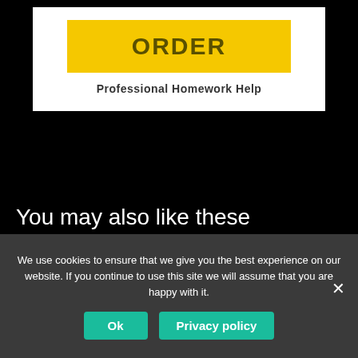[Figure (screenshot): Yellow ORDER button with text 'Professional Homework Help' below it on a white card background]
You may also like these
[Figure (photo): Product images of dark-colored items on gray background, partially visible]
We use cookies to ensure that we give you the best experience on our website. If you continue to use this site we will assume that you are happy with it.
Ok  Privacy policy